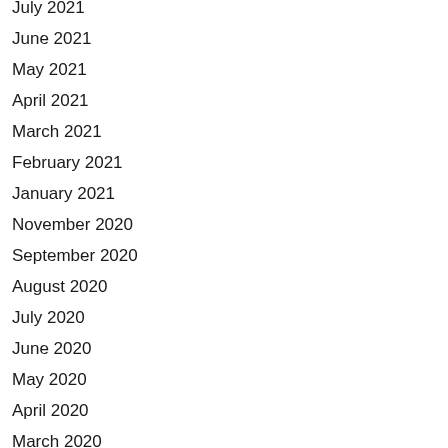July 2021
June 2021
May 2021
April 2021
March 2021
February 2021
January 2021
November 2020
September 2020
August 2020
July 2020
June 2020
May 2020
April 2020
March 2020
February 2020
January 2020
December 2019